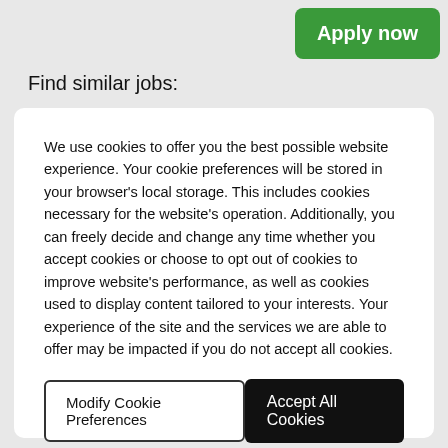Apply now
Find similar jobs:
We use cookies to offer you the best possible website experience. Your cookie preferences will be stored in your browser's local storage. This includes cookies necessary for the website's operation. Additionally, you can freely decide and change any time whether you accept cookies or choose to opt out of cookies to improve website's performance, as well as cookies used to display content tailored to your interests. Your experience of the site and the services we are able to offer may be impacted if you do not accept all cookies.
Modify Cookie Preferences
Accept All Cookies